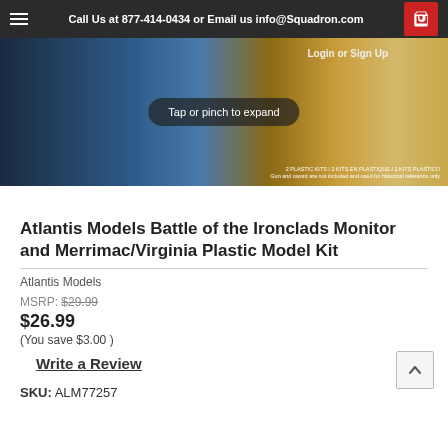Call Us at 877-414-0434 or Email us info@Squadron.com
[Figure (photo): Product image of Atlantis Models Battle of the Ironclads Monitor and Merrimac/Virginia Plastic Model Kit box with 'Tap or pinch to expand' overlay and dot navigation indicators]
Atlantis Models Battle of the Ironclads Monitor and Merrimac/Virginia Plastic Model Kit
Atlantis Models
MSRP: $29.99
$26.99
(You save $3.00 )
Write a Review
SKU: ALM77257